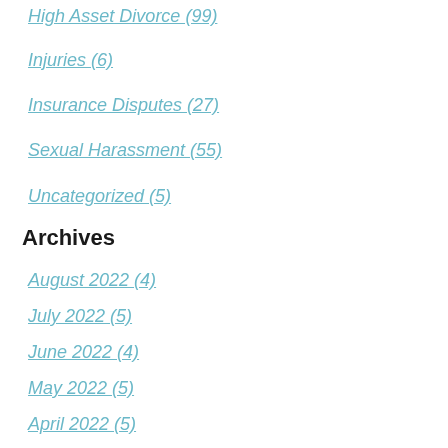High Asset Divorce (99)
Injuries (6)
Insurance Disputes (27)
Sexual Harassment (55)
Uncategorized (5)
Archives
August 2022 (4)
July 2022 (5)
June 2022 (4)
May 2022 (5)
April 2022 (5)
March 2022 (6)
February 2022 (4)
January 2022 (5)
December 2021 (4)